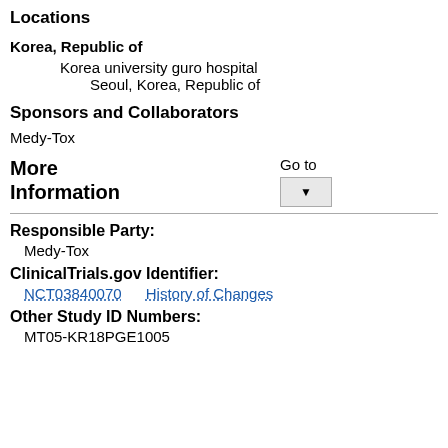Locations
Korea, Republic of
Korea university guro hospital
Seoul, Korea, Republic of
Sponsors and Collaborators
Medy-Tox
More Information
Responsible Party:
Medy-Tox
ClinicalTrials.gov Identifier:
NCT03840070    History of Changes
Other Study ID Numbers:
MT05-KR18PGE1005